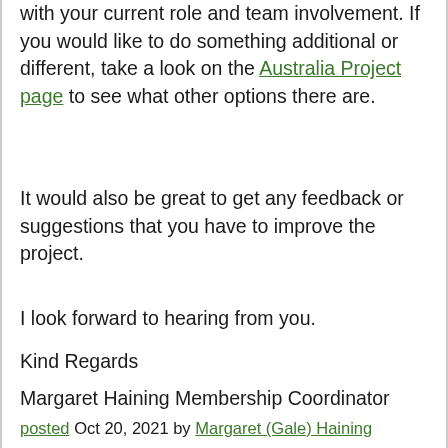with your current role and team involvement. If you would like to do something additional or different, take a look on the Australia Project page to see what other options there are.
It would also be great to get any feedback or suggestions that you have to improve the project.
I look forward to hearing from you.
Kind Regards
Margaret Haining Membership Coordinator
posted Oct 20, 2021 by Margaret (Gale) Haining